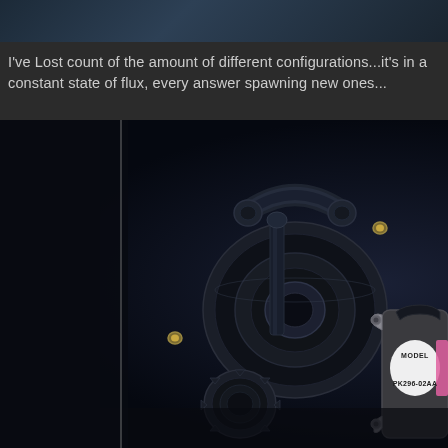[Figure (photo): Partial view of mechanical/automotive components at top of page — dark background image strip]
I've Lost count of the amount of different configurations...it's in a constant state of flux, every answer spawning new ones...
[Figure (photo): Close-up photograph of mechanical parts including a hub assembly, bearing, lock nut/castellated nut, small gear or sprocket, and a labeled electronic component (MODEL PK296-02AA) on a dark background]